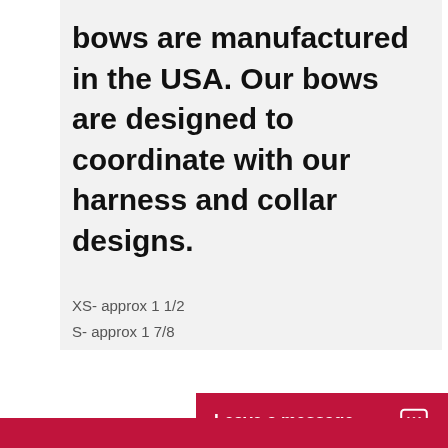bows are manufactured in the USA. Our bows are designed to coordinate with our harness and collar designs.
XS- approx 1 1/2
S- approx 1 7/8
Leave a message